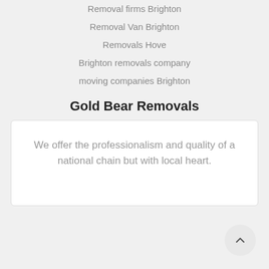Removal firms Brighton
Removal Van Brighton
Removals Hove
Brighton removals company
moving companies Brighton
Gold Bear Removals
We offer the professionalism and quality of a national chain but with local heart.